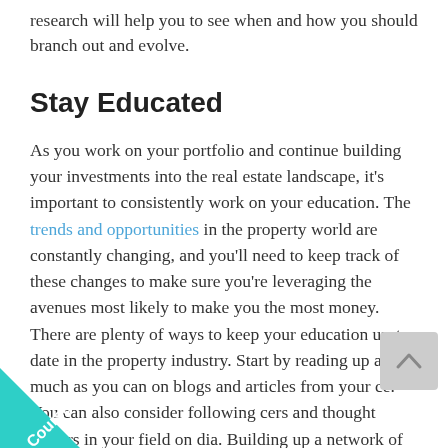research will help you to see when and how you should branch out and evolve.
Stay Educated
As you work on your portfolio and continue building your investments into the real estate landscape, it's important to consistently work on your education. The trends and opportunities in the property world are constantly changing, and you'll need to keep track of these changes to make sure you're leveraging the avenues most likely to make you the most money. There are plenty of ways to keep your education up-to-date in the property industry. Start by reading up as much as you can on blogs and articles from your ce. You can also consider following cers and thought leaders in your field on dia. Building up a network of experts